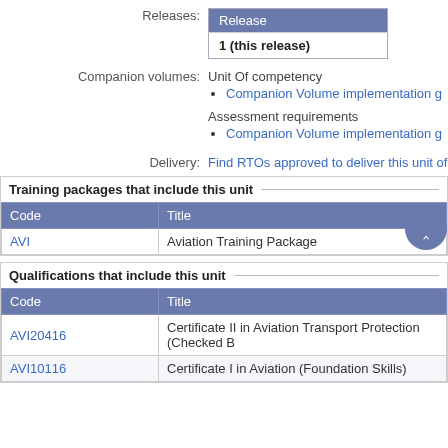Releases:
| Release |
| --- |
| 1 (this release) |
Companion volumes: Unit Of competency
Companion Volume implementation g...
Assessment requirements
Companion Volume implementation g...
Delivery: Find RTOs approved to deliver this unit of...
Training packages that include this unit
| Code | Title |
| --- | --- |
| AVI | Aviation Training Package |
Qualifications that include this unit
| Code | Title |
| --- | --- |
| AVI20416 | Certificate II in Aviation Transport Protection (Checked B... |
| AVI10116 | Certificate I in Aviation (Foundation Skills) |